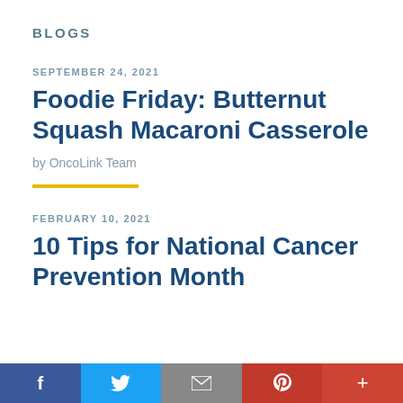BLOGS
SEPTEMBER 24, 2021
Foodie Friday: Butternut Squash Macaroni Casserole
by OncoLink Team
FEBRUARY 10, 2021
10 Tips for National Cancer Prevention Month